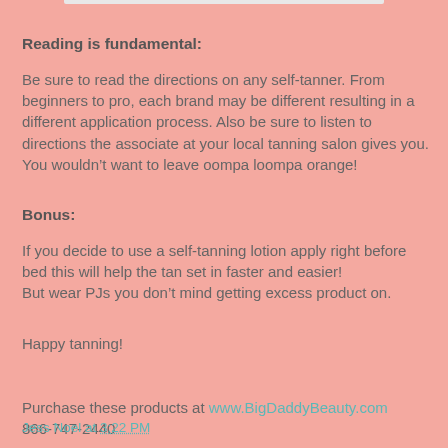Reading is fundamental:
Be sure to read the directions on any self-tanner. From beginners to pro, each brand may be different resulting in a different application process. Also be sure to listen to directions the associate at your local tanning salon gives you. You wouldn’t want to leave oompa loompa orange!
Bonus:
If you decide to use a self-tanning lotion apply right before bed this will help the tan set in faster and easier!
But wear PJs you don’t mind getting excess product on.
Happy tanning!
Purchase these products at www.BigDaddyBeauty.com
866-747-2440
Jess Noel at 3:22 PM